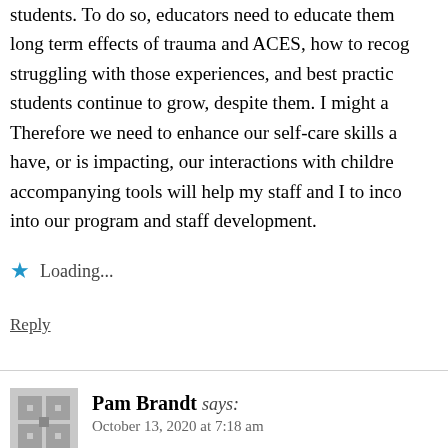students. To do so, educators need to educate themselves on the long term effects of trauma and ACES, how to recognize students struggling with those experiences, and best practices to help students continue to grow, despite them. I might add to that. Therefore we need to enhance our self-care skills and identify if we have, or is impacting, our interactions with children. The accompanying tools will help my staff and I to incorporate these into our program and staff development.
Loading...
Reply
Pam Brandt says:
October 13, 2020 at 7:18 am
This book would be a great continuation to the book discussions I've been having for the past three years. So many of our students face trauma and any resources for helping students wou...